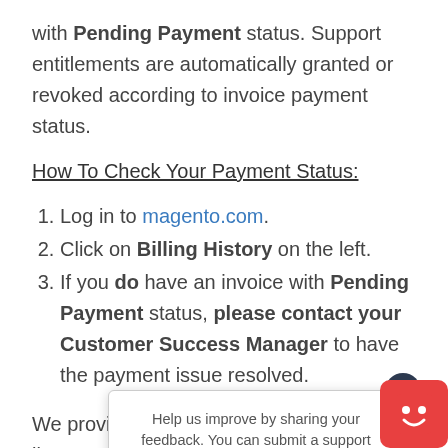with Pending Payment status. Support entitlements are automatically granted or revoked according to invoice payment status.
How To Check Your Payment Status:
Log in to magento.com.
Click on Billing History on the left.
If you do have an invoice with Pending Payment status, please contact your Customer Success Manager to have the payment issue resolved.
We provide sup[port to Magento Commerce] license owners [who have an active] Shared Access t[o an account with an Ad]obe Commerce license. If you need support for the
Help us improve by sharing your feedback. You can submit a support ticket here: https://support.magento.com/hc/en-us/articles/360019088251